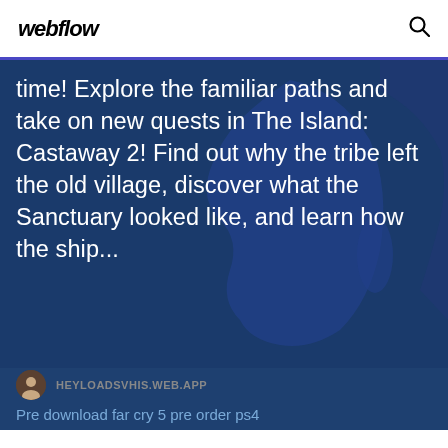webflow
time! Explore the familiar paths and take on new quests in The Island: Castaway 2! Find out why the tribe left the old village, discover what the Sanctuary looked like, and learn how the ship...
HEYLOADSVHIS.WEB.APP
Pre download far cry 5 pre order ps4